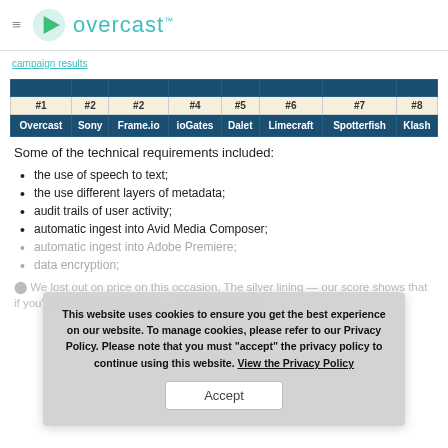overcast™
| #1 | #2 | #2 | #4 | #5 | #6 | #7 | #8 |
| --- | --- | --- | --- | --- | --- | --- | --- |
| Overcast | Sony | Frame.io | ioGates | Dalet | Limecraft | Spotterfish | Klash |
Some of the technical requirements included:
the use of speech to text;
the use different layers of metadata;
audit trails of user activity;
automatic ingest into Avid Media Composer;
automatic ingest into Adobe Premiere;
data encryption;
⬤ We lost out on price on this occasion. The silver lining — our score shows that if you're looking for the best……pay a little more;
This website uses cookies to ensure you get the best experience on our website. To manage cookies, please refer to our Privacy Policy. Please note that you must "accept" the privacy policy to continue using this website. View the Privacy Policy